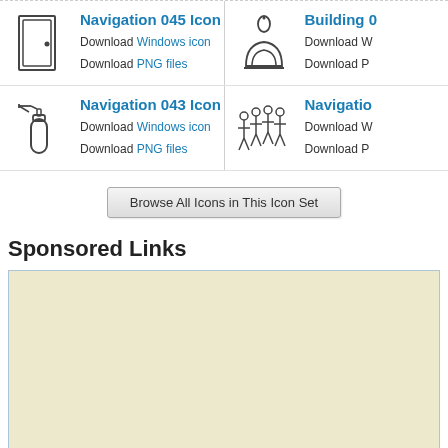Navigation 045 Icon — Download Windows icon, Download PNG files
Building 0 Icon — Download Windows icon, Download PNG files
Navigation 043 Icon — Download Windows icon, Download PNG files
Navigation Icon — Download Windows icon, Download PNG files
Browse All Icons in This Icon Set
Sponsored Links
[Figure (other): Advertisement/sponsored content placeholder box with beige/cream background]